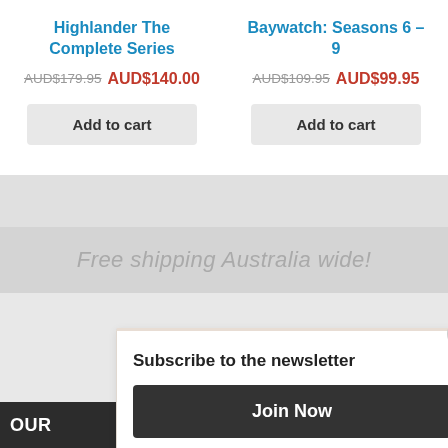Highlander The Complete Series
AUD$179.95 AUD$140.00
Add to cart
Baywatch: Seasons 6 – 9
AUD$109.95 AUD$99.95
Add to cart
Free shipping Australia wide!
Subscribe to the newsletter
Join Now
OUR